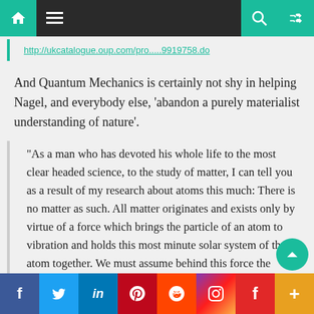Navigation bar with home, menu, search, shuffle icons
http://ukcatalogue.oup.com/pro.....9919758.do
And Quantum Mechanics is certainly not shy in helping Nagel, and everybody else, ‘abandon a purely materialist understanding of nature’.
“As a man who has devoted his whole life to the most clear headed science, to the study of matter, I can tell you as a result of my research about atoms this much: There is no matter as such. All matter originates and exists only by virtue of a force which brings the particle of an atom to vibration and holds this most minute solar system of the atom together. We must assume behind this force the existence of a conscious and intelligent mind. This mind is the matrix of all matter.”
Facebook | Twitter | LinkedIn | Pinterest | Reddit | Instagram | Flipboard | More